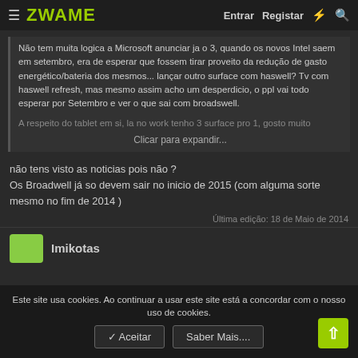ZWAME  Entrar  Registar
Não tem muita logica a Microsoft anunciar ja o 3, quando os novos Intel saem em setembro, era de esperar que fossem tirar proveito da redução de gasto energético/bateria dos mesmos... lançar outro surface com haswell? Tv com haswell refresh, mas mesmo assim acho um desperdicio, o ppl vai todo esperar por Setembro e ver o que sai com broadswell.
A respeito do tablet em si, la no work tenho 3 surface pro 1, gosto muito
Clicar para expandir...
não tens visto as noticias pois não ?
Os Broadwell já so devem sair no inicio de 2015 (com alguma sorte mesmo no fim de 2014 )
Última edição: 18 de Maio de 2014
Imikotas
Este site usa cookies. Ao continuar a usar este site está a concordar com o nosso uso de cookies.